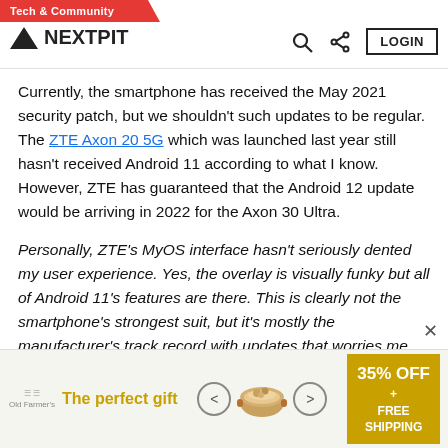Tech & Community — NEXTPIT
Currently, the smartphone has received the May 2021 security patch, but we shouldn't such updates to be regular. The ZTE Axon 20 5G which was launched last year still hasn't received Android 11 according to what I know. However, ZTE has guaranteed that the Android 12 update would be arriving in 2022 for the Axon 30 Ultra.
Personally, ZTE's MyOS interface hasn't seriously dented my user experience. Yes, the overlay is visually funky but all of Android 11's features are there. This is clearly not the smartphone's strongest suit, but it's mostly the manufacturer's track record with updates that worries me.
[Figure (other): Advertisement banner: 'The perfect gift' with bowl/product image, navigation arrows, and 35% OFF + FREE SHIPPING offer badge]